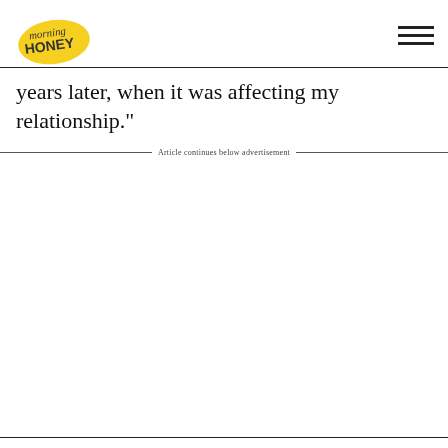morning HONEY
years later, when it was affecting my relationship."
Article continues below advertisement